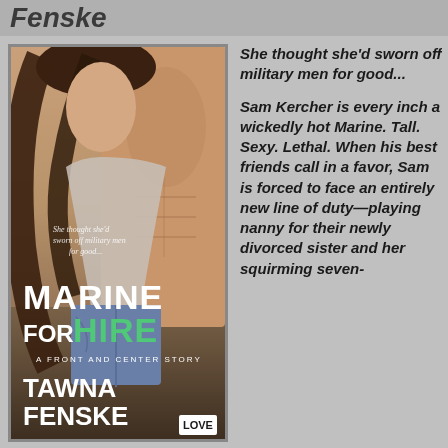Fenske
[Figure (illustration): Book cover for 'Marine for Hire' by Tawna Fenske. A Front and Center Story. Shows a couple embracing, shirtless man and woman in tank top and denim shorts. Title text 'MARINE FOR HIRE' with HIRE in green. Published by LOVE.]
She thought she'd sworn off military men for good...

Sam Kercher is every inch a wickedly hot Marine. Tall. Sexy. Lethal. When his best friends call in a favor, Sam is forced to face an entirely new line of duty—playing nanny for their newly divorced sister and her squirming seven-